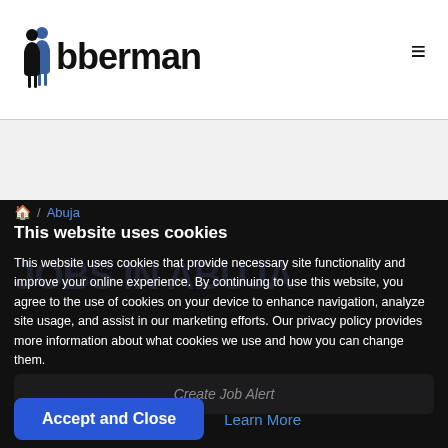[Figure (logo): Jobberman logo with two blue figure silhouettes and bold text 'Jobberman']
≡
🏠 / Abuja
This website uses cookies
This website uses cookies that provide necessary site functionality and improve your online experience. By continuing to use this website, you agree to the use of cookies on your device to enhance navigation, analyze site usage, and assist in our marketing efforts. Our privacy policy provides more information about what cookies we use and how you can change them.
Create Job Alert
Accept and Close
Learn More